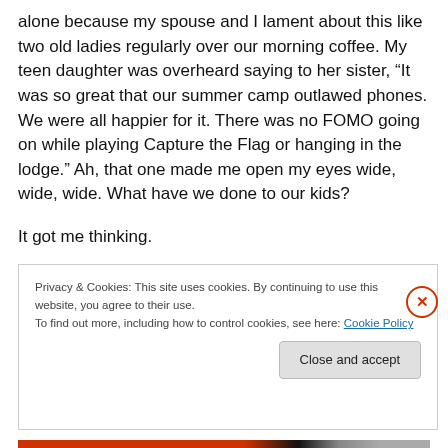alone because my spouse and I lament about this like two old ladies regularly over our morning coffee. My teen daughter was overheard saying to her sister, “It was so great that our summer camp outlawed phones. We were all happier for it. There was no FOMO going on while playing Capture the Flag or hanging in the lodge.” Ah, that one made me open my eyes wide, wide, wide. What have we done to our kids?
It got me thinking.
Privacy & Cookies: This site uses cookies. By continuing to use this website, you agree to their use.
To find out more, including how to control cookies, see here: Cookie Policy